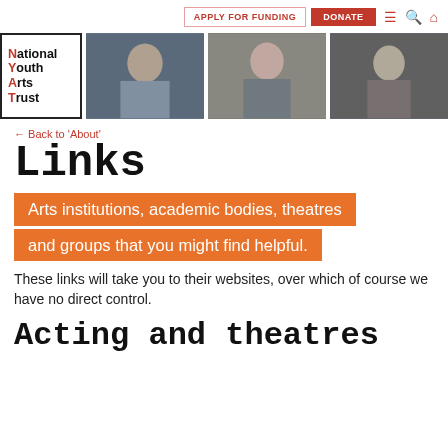APPLY FOR FUNDING | DONATE
[Figure (photo): National Youth Arts Trust logo and three photos of young people in performance/rehearsal settings]
← Back to 'About'
Links
Arts institutions, academic bodies, theatres and groups that you might find helpful.
These links will take you to their websites, over which of course we have no direct control.
Acting and theatres